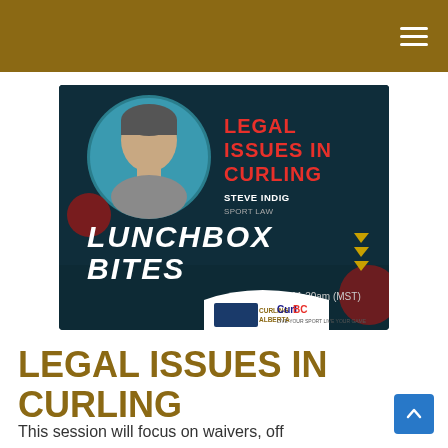Navigation header bar with hamburger menu
[Figure (infographic): Lunchbox Bites event promotional banner featuring Steve Indig from Sport Law on Legal Issues in Curling, June 21st at 11:30am (MST), with Curling Alberta and Curl BC logos]
LEGAL ISSUES IN CURLING
This session will focus on waivers, off